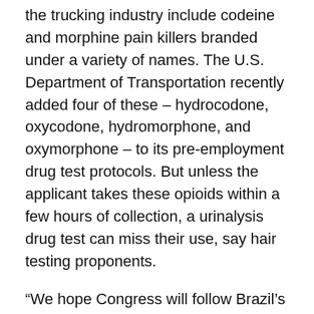the trucking industry include codeine and morphine pain killers branded under a variety of names. The U.S. Department of Transportation recently added four of these – hydrocodone, oxycodone, hydromorphone, and oxymorphone – to its pre-employment drug test protocols. But unless the applicant takes these opioids within a few hours of collection, a urinalysis drug test can miss their use, say hair testing proponents.
“We hope Congress will follow Brazil’s leadership and require a drug test that proves without a doubt that a truck driver job applicant hasn’t taken illegal drugs or abused opioids for at least 30 days,” said Kidd.
Kidd also said Congress might consider a new drug test law for all current truck drivers, requiring a hair test before they renew their commercial driver license, as Brazil requires. “Too many loopholes allow truck drivers to skip random drug testing, even after they’re